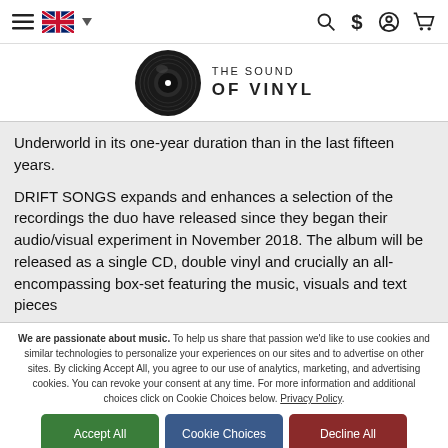Navigation bar with hamburger menu, UK flag, search, dollar, account, cart icons
[Figure (logo): The Sound of Vinyl logo — vinyl record graphic with THE SOUND OF VINYL text]
Underworld in its one-year duration than in the last fifteen years.
DRIFT SONGS expands and enhances a selection of the recordings the duo have released since they began their audio/visual experiment in November 2018. The album will be released as a single CD, double vinyl and crucially an all-encompassing box-set featuring the music, visuals and text pieces
We are passionate about music. To help us share that passion we'd like to use cookies and similar technologies to personalize your experiences on our sites and to advertise on other sites. By clicking Accept All, you agree to our use of analytics, marketing, and advertising cookies. You can revoke your consent at any time. For more information and additional choices click on Cookie Choices below. Privacy Policy.